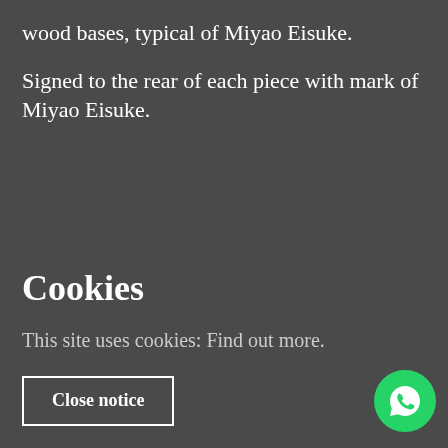wood bases, typical of Miyao Eisuke.
Signed to the rear of each piece with mark of Miyao Eisuke.
[Figure (photo): Partial view of a Japanese bronze/wood decorative object with gold accents on the left edge]
Cookies
This site uses cookies: Find out more.
Close notice
[Figure (photo): Close-up of elaborately carved dark bronze Japanese decorative piece with swirling relief patterns]
[Figure (logo): WhatsApp icon button (green circular button with phone handset icon)]